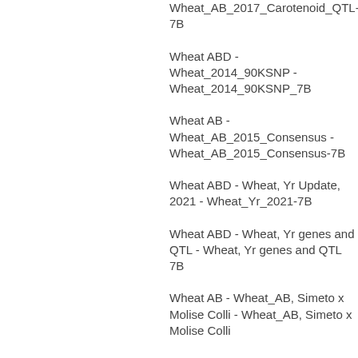Wheat_AB_2017_Carotenoid_QTL-7B
Wheat ABD - Wheat_2014_90KSNP - Wheat_2014_90KSNP_7B
Wheat AB - Wheat_AB_2015_Consensus - Wheat_AB_2015_Consensus-7B
Wheat ABD - Wheat, Yr Update, 2021 - Wheat_Yr_2021-7B
Wheat ABD - Wheat, Yr genes and QTL - Wheat, Yr genes and QTL 7B
Wheat AB - Wheat_AB, Simeto x Molise Colli - Wheat_AB, Simeto x Molise Colli
Wheat ABD - Wheat, Yr Update, 2021 - Wheat_Yr_2021-7B
Wheat AB - Wheat_AB, Svevo x Zavitan - Wheat_AB, Svevo x Zavitan 7B
Wheat ABD - Wheat, Yr genes and QTL - Wheat, Yr genes and QTL 7B